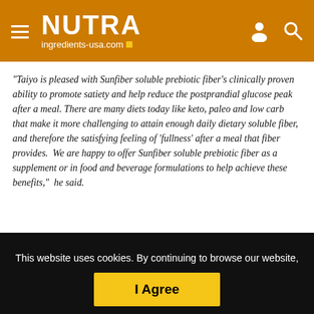NUTRA ingredients-usa.com
“Taiyo is pleased with Sunfiber soluble prebiotic fiber’s clinically proven ability to promote satiety and help reduce the postprandial glucose peak after a meal. There are many diets today like keto, paleo and low carb that make it more challenging to attain enough daily dietary soluble fiber, and therefore the satisfying feeling of ‘fullness’ after a meal that fiber provides.  We are happy to offer Sunfiber soluble prebiotic fiber as a supplement or in food and beverage formulations to help achieve these benefits,” he said.
This website uses cookies. By continuing to browse our website, you are agreeing to our use of cookies. You can learn more about cookies by visiting our privacy & cookies policy page.
I Agree